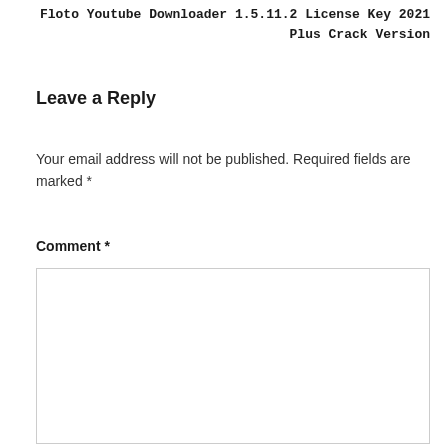Floto Youtube Downloader 1.5.11.2 License Key 2021 Plus Crack Version
Leave a Reply
Your email address will not be published. Required fields are marked *
Comment *